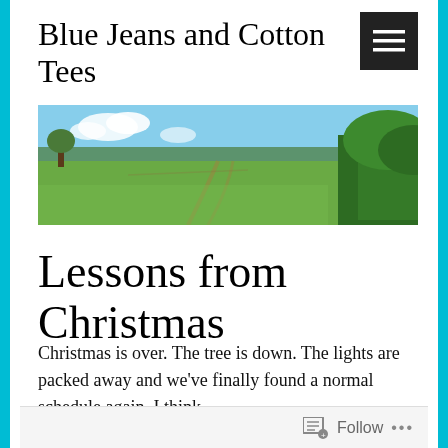Blue Jeans and Cotton Tees
[Figure (photo): Wide panoramic landscape photo showing a green grassy field with trees on the right side and a distant treeline, under a partly cloudy blue sky.]
Lessons from Christmas
Christmas is over. The tree is down. The lights are packed away and we've finally found a normal schedule again. I think.
Follow ...